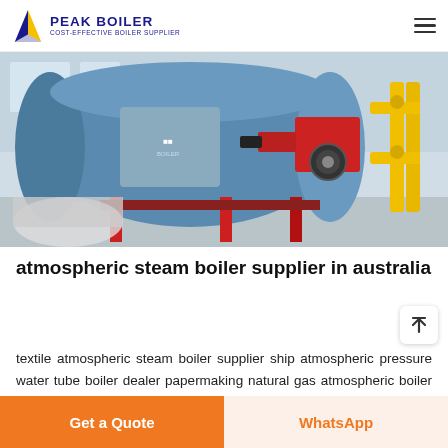PEAK BOILER COST-EFFECTIVE BOILER SUPPLIER
[Figure (photo): Industrial steam boiler in a factory setting — a large blue cylindrical boiler with red burner assembly and yellow gas pipes, installed in a facility with concrete floors and windows.]
atmospheric steam boiler supplier in australia
textile atmospheric steam boiler supplier ship atmospheric pressure water tube boiler dealer papermaking natural gas atmospheric boiler for sale ship atmospheric fire tube boiler price Inquiry for t...